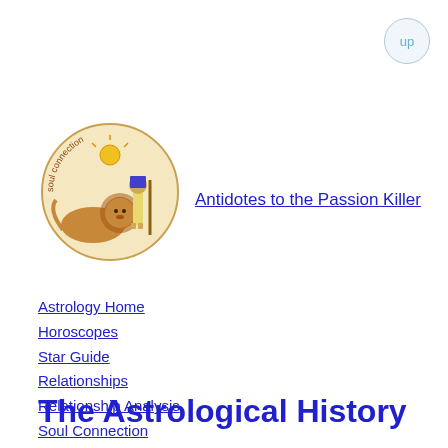[Figure (logo): Soul Connection astrology logo with lion and Egyptian figures]
Antidotes to the Passion Killer
Astrology Home
Horoscopes
Star Guide
Relationships
Relationship Analysis
Soul Connection
About Astrology
Orders
More Info
Astrology and Health
Runes
The Zodiac
About Us
The Astrological History